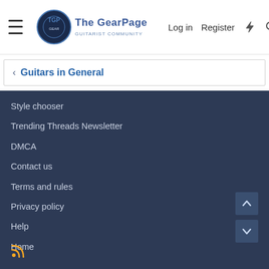The Gear Page — Log in | Register
Guitars in General
Style chooser
Trending Threads Newsletter
DMCA
Contact us
Terms and rules
Privacy policy
Help
Home